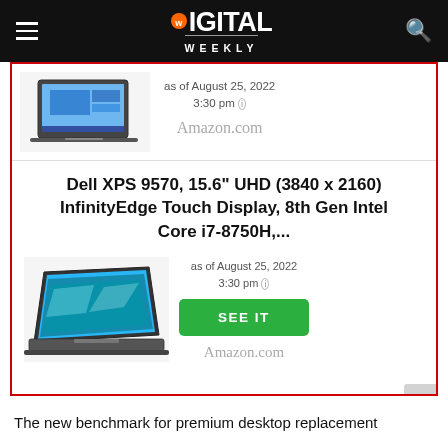DIGITAL WEEKLY
[Figure (photo): Laptop computer (Dell XPS) partially visible at top of product card]
as of August 25, 2022
3:30 pm ℹ
Amazon.com
Dell XPS 9570, 15.6" UHD (3840 x 2160) InfinityEdge Touch Display, 8th Gen Intel Core i7-8750H,...
[Figure (photo): Dell XPS laptop open, showing display with blue/teal desktop background]
as of August 25, 2022
3:30 pm ℹ
SEE IT
Amazon.com
The new benchmark for premium desktop replacement